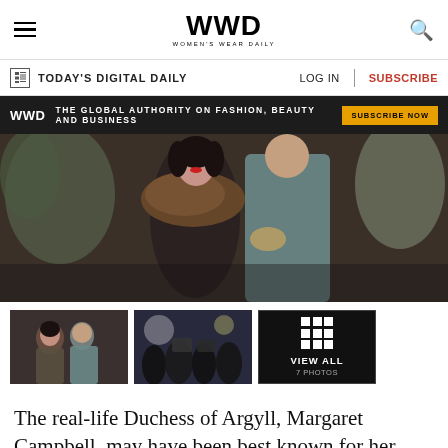WWD — Women's Wear Daily
TODAY'S DIGITAL DAILY | LOG IN | SUBSCRIBE
WWD THE GLOBAL AUTHORITY ON FASHION, BEAUTY AND BUSINESS SUBSCRIBE NOW
[Figure (photo): Main editorial photo of Duchess of Argyll scene with woman in fur stole and man in grey suit, with flower arrangements in background]
[Figure (photo): Thumbnail 1: couple seated together]
[Figure (photo): Thumbnail 2: crowd scene with photographers]
[Figure (other): VIEW ALL 7 PHOTOS button]
The real-life Duchess of Argyll, Margaret Campbell, may have been best known for her headline-making divorce from her second husband, Ian Campbell, the Duke of Argyll